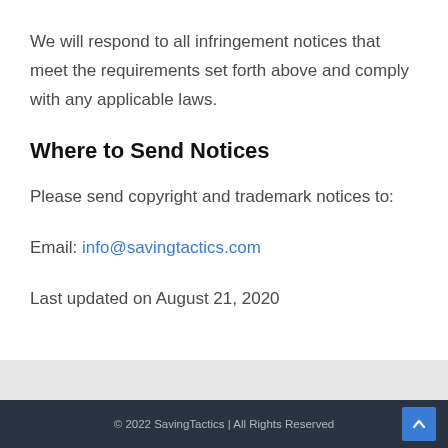We will respond to all infringement notices that meet the requirements set forth above and comply with any applicable laws.
Where to Send Notices
Please send copyright and trademark notices to:
Email: info@savingtactics.com
Last updated on August 21, 2020
© 2022 SavingTactics | All Rights Reserved